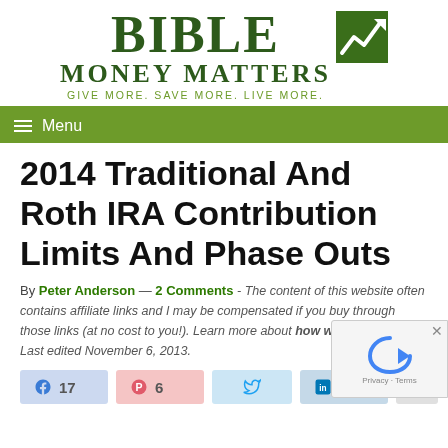[Figure (logo): Bible Money Matters logo with green square icon containing a white upward trend line, site name in dark green, tagline 'GIVE MORE. SAVE MORE. LIVE MORE.' in olive green]
☰ Menu
2014 Traditional And Roth IRA Contribution Limits And Phase Outs
By Peter Anderson — 2 Comments - The content of this website often contains affiliate links and I may be compensated if you buy through those links (at no cost to you!). Learn more about how we make money. Last edited November 6, 2013.
Share buttons: 17 Facebook shares, 6 Pinterest pins, Tweet button, 3 LinkedIn shares, More share options